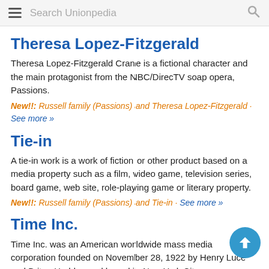Search Unionpedia
Theresa Lopez-Fitzgerald
Theresa Lopez-Fitzgerald Crane is a fictional character and the main protagonist from the NBC/DirecTV soap opera, Passions.
New!!: Russell family (Passions) and Theresa Lopez-Fitzgerald · See more »
Tie-in
A tie-in work is a work of fiction or other product based on a media property such as a film, video game, television series, board game, web site, role-playing game or literary property.
New!!: Russell family (Passions) and Tie-in · See more »
Time Inc.
Time Inc. was an American worldwide mass media corporation founded on November 28, 1922 by Henry Luce and Briton Hadden and based in New York City.